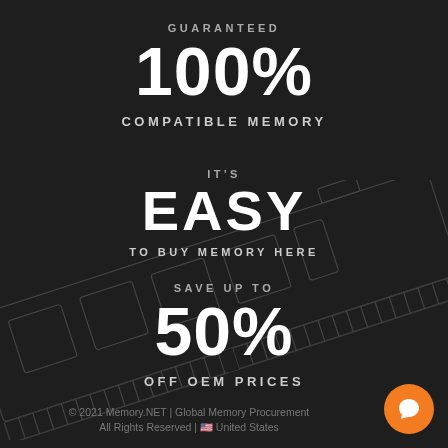GUARANTEED
100%
COMPATIBLE MEMORY
IT'S
EASY
TO BUY MEMORY HERE
SAVE UP TO
50%
OFF OEM PRICES
[Figure (illustration): Outline illustration of a RAM memory stick shown at a diagonal angle, rendered in white/gray lines on dark background]
© 2021 Memory.NET | Global Memory Procurement
All Rights Reserved | 🇺🇸 United States